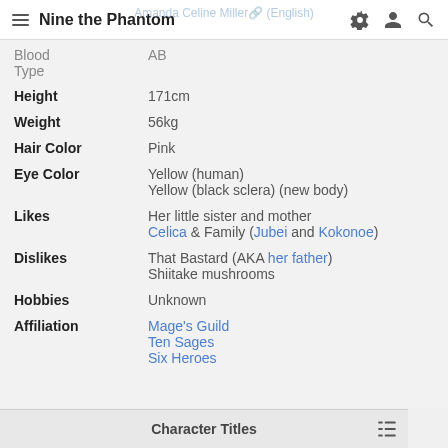Nine the Phantom
| Attribute | Value |
| --- | --- |
| Blood Type | AB |
| Height | 171cm |
| Weight | 56kg |
| Hair Color | Pink |
| Eye Color | Yellow (human)
Yellow (black sclera) (new body) |
| Likes | Her little sister and mother
Celica & Family (Jubei and Kokonoe) |
| Dislikes | That Bastard (AKA her father)
Shiitake mushrooms |
| Hobbies | Unknown |
| Affiliation | Mage's Guild
Ten Sages
Six Heroes |
Character Titles